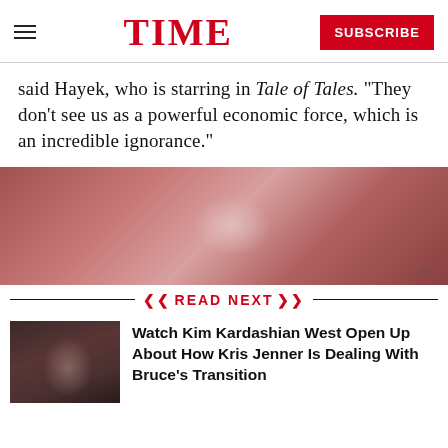TIME | SUBSCRIBE
said Hayek, who is starring in Tale of Tales. “They don’t see us as a powerful economic force, which is an incredible ignorance.”
[Figure (photo): Blurred reddish-pink portrait photo]
READ NEXT
[Figure (photo): Thumbnail photo of Kim Kardashian West]
Watch Kim Kardashian West Open Up About How Kris Jenner Is Dealing With Bruce’s Transition